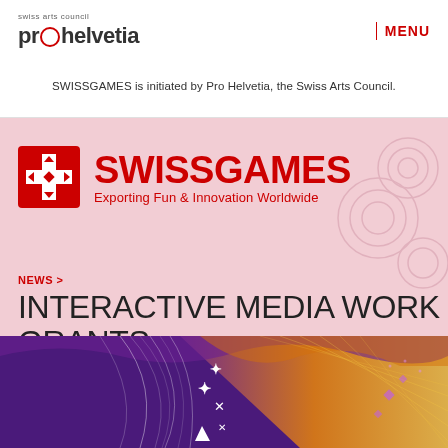swiss arts council prohelvetia
SWISSGAMES is initiated by Pro Helvetia, the Swiss Arts Council.
[Figure (logo): SWISSGAMES logo with red Swiss cross icon and text 'SWISSGAMES Exporting Fun & Innovation Worldwide' on pink background]
NEWS >
INTERACTIVE MEDIA WORK GRANTS
[Figure (illustration): Abstract colorful banner with purple, orange, and yellow flowing lines and geometric cross symbols on dark purple background]